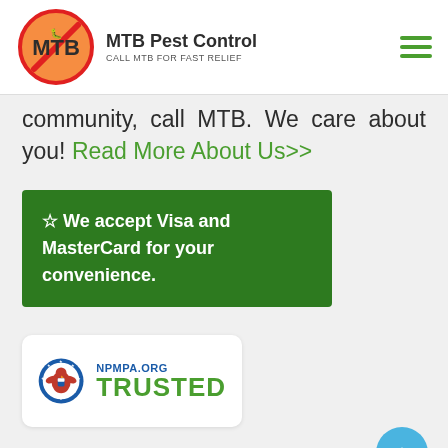MTB Pest Control — CALL MTB FOR FAST RELIEF
community, call MTB. We care about you! Read More About Us>>
☆ We accept Visa and MasterCard for your convenience.
[Figure (logo): NPMPA.ORG TRUSTED badge with eagle emblem in red/white/blue circular seal]
MTB Pest Control Report
[Figure (logo): Partial view of a circular green logo at bottom of page]